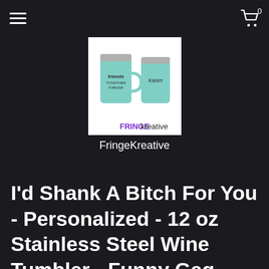≡  0 🛒
[Figure (logo): FringeKreative logo showing two teal/mint stainless steel tumblers with text overlay and the FRINGEkreative brand name in purple/black text]
FringeKreative
I'd Shank A Bitch For You - Personalized - 12 oz Stainless Steel Wine Tumbler - Funny Gag Wine Cup Mug - Perfect for Friend Sister Mom